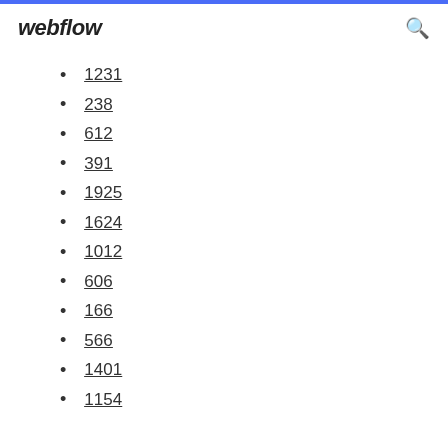webflow
1231
238
612
391
1925
1624
1012
606
166
566
1401
1154